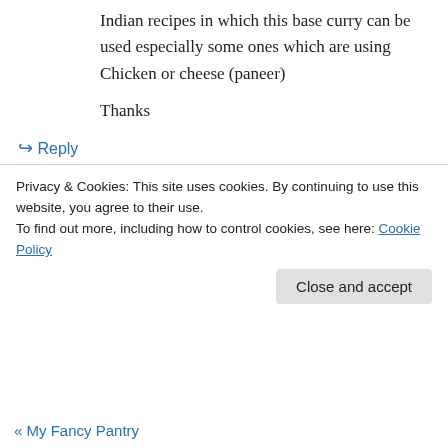Indian recipes in which this base curry can be used especially some ones which are using Chicken or cheese (paneer)
Thanks
↪ Reply
Shari on August 20, 2012 at 9:39 pm
Absolutely! I'm actually working on one right this very minute. 😐
Privacy & Cookies: This site uses cookies. By continuing to use this website, you agree to their use.
To find out more, including how to control cookies, see here: Cookie Policy
Close and accept
« My Fancy Pantry